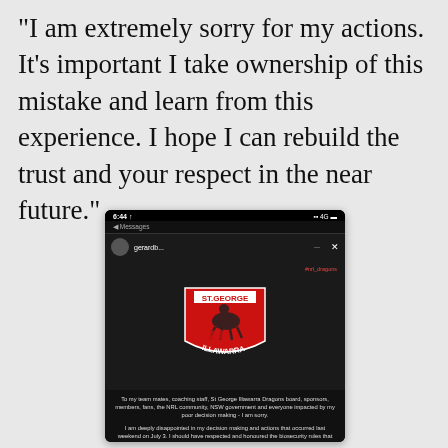"I am extremely sorry for my actions. It's important I take ownership of this mistake and learn from this experience. I hope I can rebuild the trust and your respect in the near future."
[Figure (screenshot): Screenshot of an Instagram story from user 'gerardb...' showing the St George Illawarra Dragons logo (red shield with knight on horseback and dragon, text ST.GEORGE and ILLAWARRA) on a dark background, followed by a public apology statement beginning 'To my team mates, coaching staff, St George Illawarra Dragons board, sponsors, members, fans, the NRL community, NSW government and everyone impacted by my poor decision making - I am sorry.' and continuing with 'I am deeply disappointed in my decision making and actions that occurred last weekend on July 3. I should have respected and honoured the biosecurity rules that are put in place to protect us.']